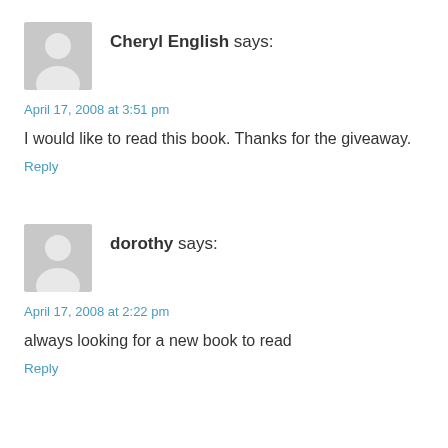[Figure (illustration): Generic grey avatar silhouette icon for user Cheryl English]
Cheryl English says:
April 17, 2008 at 3:51 pm
I would like to read this book. Thanks for the giveaway.
Reply
[Figure (illustration): Generic grey avatar silhouette icon for user dorothy]
dorothy says:
April 17, 2008 at 2:22 pm
always looking for a new book to read
Reply